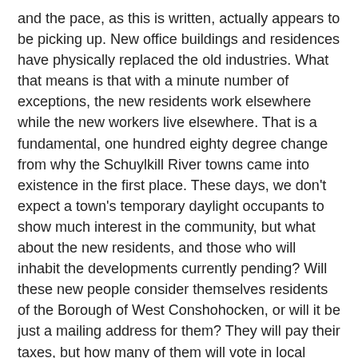and the pace, as this is written, actually appears to be picking up.  New office buildings and residences have physically replaced the old industries.  What that means is that with a minute number of exceptions, the new residents work elsewhere while the new workers live elsewhere.  That is a fundamental, one hundred eighty degree change from why the Schuylkill River towns came into existence in the first place.  These days, we don't expect a town's temporary daylight occupants to show much interest in the community, but what about the new residents, and those who will inhabit the developments currently pending?  Will these new people consider themselves residents of the Borough of West Conshohocken, or will it be just a mailing address for them?  They will pay their taxes, but how many of them will vote in local elections?  Will they support the George Clay Fire Company?  How will they view the community in which they technically live?  As anything at all?
Let's put it another way: do they have any reason to feel of sense of community about today's West Conshohocken?  What does the Borough—and being a part of it—contribute to their lives?